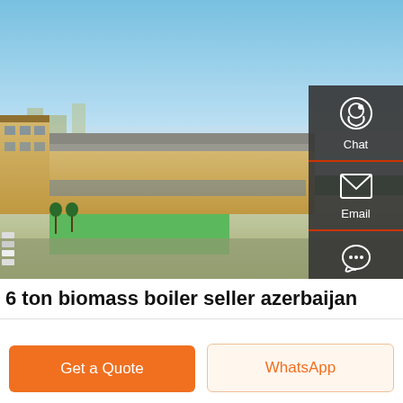[Figure (photo): Aerial view of a large industrial/manufacturing facility with beige warehouse buildings, green lawn areas, parked cars, and blue sky in the background. A dark semi-transparent sidebar with Chat, Email, and Contact icons is overlaid on the right side of the image.]
6 ton biomass boiler seller azerbaijan
Get a Quote
WhatsApp